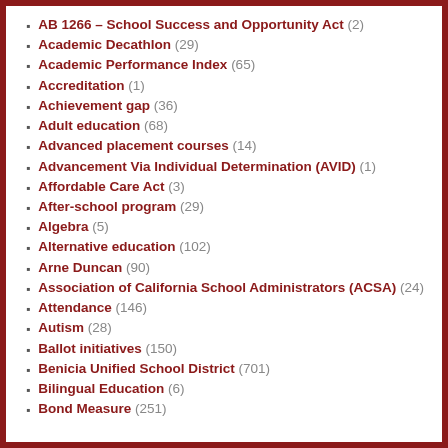AB 1266 – School Success and Opportunity Act (2)
Academic Decathlon (29)
Academic Performance Index (65)
Accreditation (1)
Achievement gap (36)
Adult education (68)
Advanced placement courses (14)
Advancement Via Individual Determination (AVID) (1)
Affordable Care Act (3)
After-school program (29)
Algebra (5)
Alternative education (102)
Arne Duncan (90)
Association of California School Administrators (ACSA) (24)
Attendance (146)
Autism (28)
Ballot initiatives (150)
Benicia Unified School District (701)
Bilingual Education (6)
Bond Measure (251)